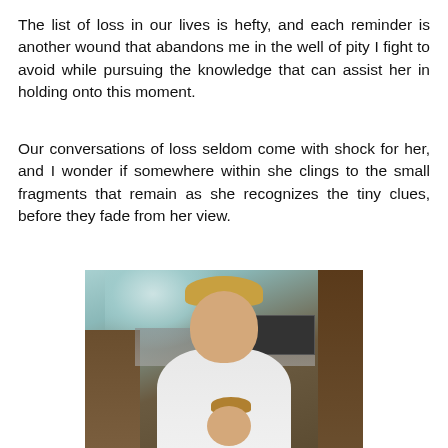The list of loss in our lives is hefty, and each reminder is another wound that abandons me in the well of pity I fight to avoid while pursuing the knowledge that can assist her in holding onto this moment.
Our conversations of loss seldom come with shock for her, and I wonder if somewhere within she clings to the small fragments that remain as she recognizes the tiny clues, before they fade from her view.
[Figure (photo): A vintage photograph of a woman with curly blonde hair wearing a white shirt, standing in a kitchen with wood cabinetry and a microwave visible in the background. A young child's head is visible in front of her.]